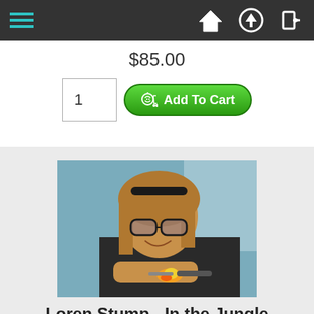Navigation bar with hamburger menu, home, upload, and login icons
$85.00
1
Add To Cart
[Figure (photo): Person with sunglasses on head, smiling, working with a torch flame on glass or metal object in a workshop setting]
Loren Stump - In the Jungle
Loren Stump - In The Jungle Dec 1 - Dec 5, 2022 For people who have already taken Loren I and II and want to come back again for